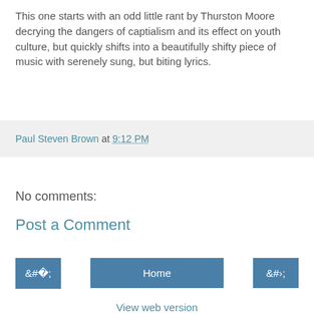This one starts with an odd little rant by Thurston Moore decrying the dangers of captialism and its effect on youth culture, but quickly shifts into a beautifully shifty piece of music with serenely sung, but biting lyrics.
Paul Steven Brown at 9:12 PM
No comments:
Post a Comment
‹
Home
›
View web version
Powered by Blogger.